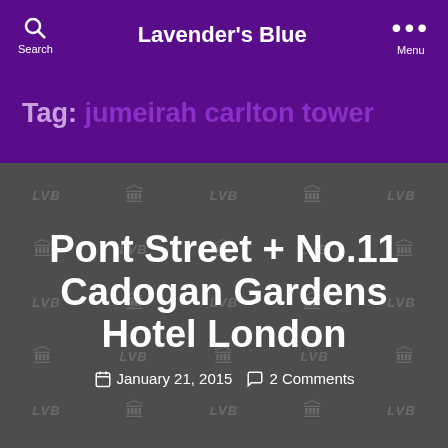Lavender's Blue
Tag: jumeirah carlton tower
[Figure (screenshot): Dark grey article card with repeating LVB watermark pattern featuring building icons and the text 'Pont Street + No.11 Cadogan Gardens Hotel London' in large white bold font, with metadata showing January 21, 2015 and 2 Comments]
Beautiful as a Story